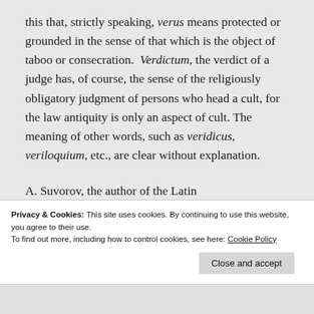this that, strictly speaking, verus means protected or grounded in the sense of that which is the object of taboo or consecration. Verdictum, the verdict of a judge has, of course, the sense of the religiously obligatory judgment of persons who head a cult, for the law antiquity is only an aspect of cult. The meaning of other words, such as veridicus, veriloquium, etc., are clear without explanation.
A. Suvorov, the author of the Latin
Privacy & Cookies: This site uses cookies. By continuing to use this website, you agree to their use.
To find out more, including how to control cookies, see here: Cookie Policy